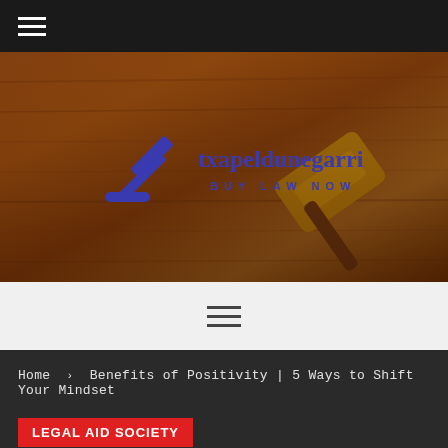☰ (hamburger menu)
[Figure (photo): Hero image of a wooden judge's gavel on a wooden surface with an overlay logo reading 'txapeldunegarri BUY LAW NOW' with a gavel icon, on a warm brown wood-toned background]
[Figure (other): Navigation menu icon (three horizontal lines / hamburger menu) on a light gray background]
Home > Benefits of Positivity | 5 Ways to Shift Your Mindset
LEGAL AID SOCIETY